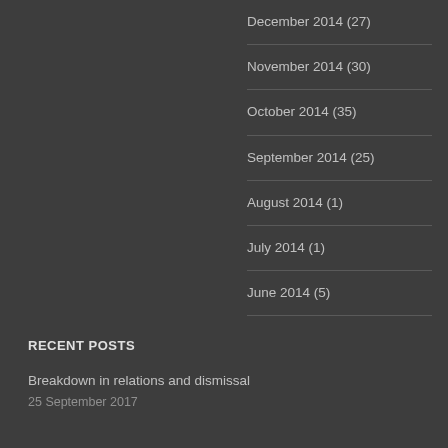December 2014 (27)
November 2014 (30)
October 2014 (35)
September 2014 (25)
August 2014 (1)
July 2014 (1)
June 2014 (5)
RECENT POSTS
Breakdown in relations and dismissal
25 September 2017